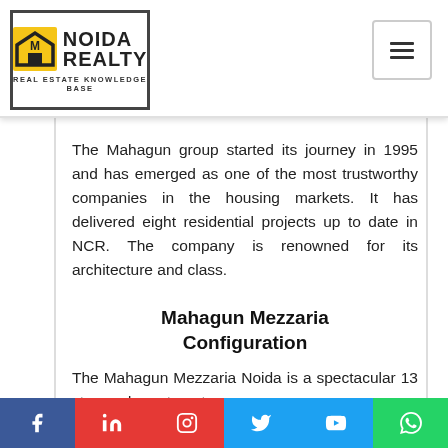NOIDA REALTY — REAL ESTATE KNOWLEDGE BASE
The Mahagun group started its journey in 1995 and has emerged as one of the most trustworthy companies in the housing markets. It has delivered eight residential projects up to date in NCR. The company is renowned for its architecture and class.
Mahagun Mezzaria Configuration
The Mahagun Mezzaria Noida is a spectacular 13 storeyed apartment
Social share bar: Facebook, LinkedIn, Instagram, Twitter, YouTube, WhatsApp